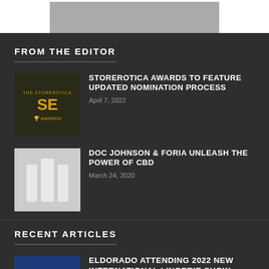[Figure (photo): Partial view of a person in lingerie, cropped at top of dark section]
FROM THE EDITOR
[Figure (logo): Storerotica Awards SE badge with laurel wreath in gold]
STOREROTICA AWARDS TO FEATURE UPDATED NOMINATION PROCESS
April 7, 2022
[Figure (photo): White CBD product bottles/tubes on light background]
DOC JOHNSON & FORIA UNLEASH THE POWER OF CBD
March 24, 2020
RECENT ARTICLES
[Figure (logo): Blue square with 'exclusives' text in white italic]
ELDORADO ATTENDING 2022 NEW INTERNATIONAL LINGERIE SHOW